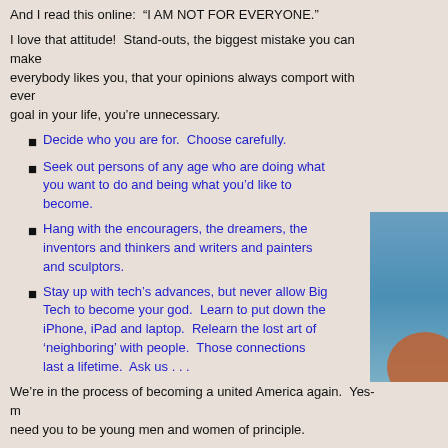And I read this online:  “I AM NOT FOR EVERYONE.”
I love that attitude!  Stand-outs, the biggest mistake you can make is wanting everybody likes you, that your opinions always comport with everyone else’s. If that’s your goal in your life, you’re unnecessary.
Decide who you are for.  Choose carefully.
Seek out persons of any age who are doing what you want to do and being what you’d like to become.
Hang with the encouragers, the dreamers, the inventors and thinkers and writers and painters and sculptors.
Stay up with tech’s advances, but never allow Big Tech to become your god.  Learn to put down the iPhone, iPad and laptop.  Relearn the lost art of ‘neighboring’ with people.  Those connections last a lifetime.  Ask us . . .
We’re in the process of becoming a united America again.  Yes-m... need you to be young men and women of principle.
Decide what you stand for, and be willing to back it up with willingness to work and practice delayed gratification.